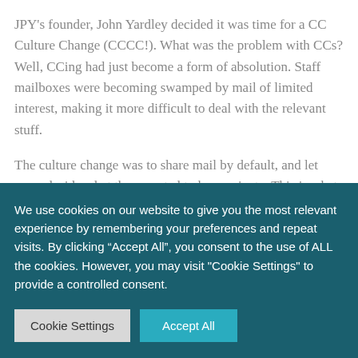JPY's founder, John Yardley decided it was time for a CC Culture Change (CCCC!). What was the problem with CCs? Well, CCing had just become a form of absolution. Staff mailboxes were becoming swamped by mail of limited interest, making it more difficult to deal with the relevant stuff.
The culture change was to share mail by default, and let users decide what they wanted to keep private. This is what became Threads. At first, it
We use cookies on our website to give you the most relevant experience by remembering your preferences and repeat visits. By clicking “Accept All”, you consent to the use of ALL the cookies. However, you may visit "Cookie Settings" to provide a controlled consent.